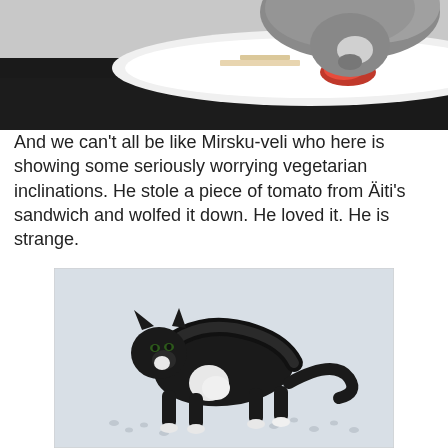[Figure (photo): Close-up photo of a grey cat eating a piece of tomato from a white plate on a dark wooden surface. The cat's face is bent down toward a red piece of tomato with food crumbs visible on the plate.]
And we can't all be like Mirsku-veli who here is showing some seriously worrying vegetarian inclinations. He stole a piece of tomato from Äiti's sandwich and wolfed it down. He loved it. He is strange.
[Figure (photo): A black and white cat walking on snow-covered ground. The cat is arching its back and moving forward, with paw prints visible in the snow behind it. The cat has a mostly black coat with white markings on its chest, belly, and paws.]